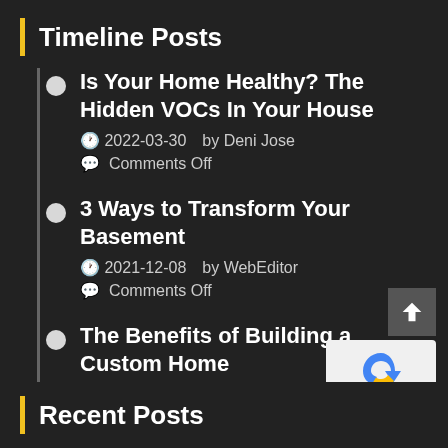Timeline Posts
Is Your Home Healthy? The Hidden VOCs In Your House
2022-03-30   by Deni Jose
Comments Off
3 Ways to Transform Your Basement
2021-12-08   by WebEditor
Comments Off
The Benefits of Building a Custom Home
2021-10-12   by WebEditor
Comments Off
Recent Posts